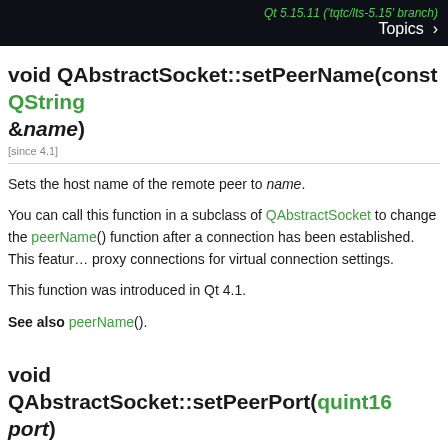Qt 5.15.11 ('tqtc/lts-5.15' branch) Topics
void QAbstractSocket::setPeerName(const QString &name)
Sets the host name of the remote peer to name.
You can call this function in a subclass of QAbstractSocket to change the peerName() function after a connection has been established. This feature is used by proxy connections for virtual connection settings.
This function was introduced in Qt 4.1.
See also peerName().
void QAbstractSocket::setPeerPort(quint16 port)
Sets the port of the remote side of the connection to port.
You can call this function in a subclass of QAbstractSocket to change the